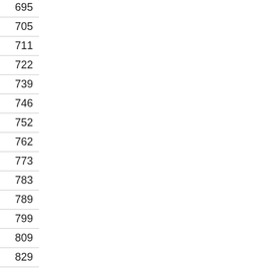| Col1 | Num1 | Col2 | Num2 |
| --- | --- | --- | --- |
| On | 279 | Po | 695 |
| To | 290 | A F | 705 |
| To | 300 | Mi | 711 |
| Di | 310 | OV | 722 |
| A C | 315 | An | 739 |
| Re | 321 | A D | 746 |
| Inf | 332 | Co | 752 |
| Ob | 342 | Bu | 762 |
| Ev | 353 | An | 773 |
| Fre | 361 | A C | 783 |
| Pre | 367 | An | 789 |
| Cla | 380 | A N | 799 |
| Co | 390 | A S | 809 |
| En | 400 | Tra | 829 |
| Lo | 406 | Ca | 839 |
| A C | 412 | A C | 845 |
| Mi | 422 | A S | 851 |